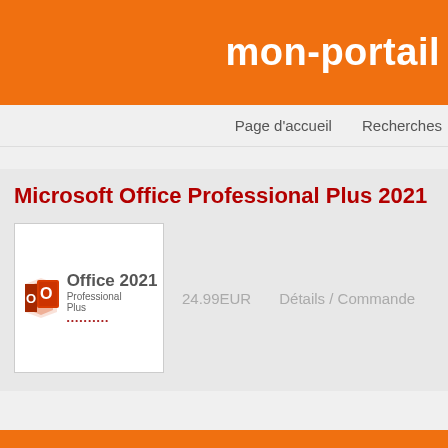mon-portail
Page d'accueil    Recherches
Microsoft Office Professional Plus 2021
[Figure (logo): Microsoft Office 2021 Professional Plus product logo: red/dark-red Office icon with 'Office 2021 Professional Plus' text]
24.99EUR
Détails / Commande